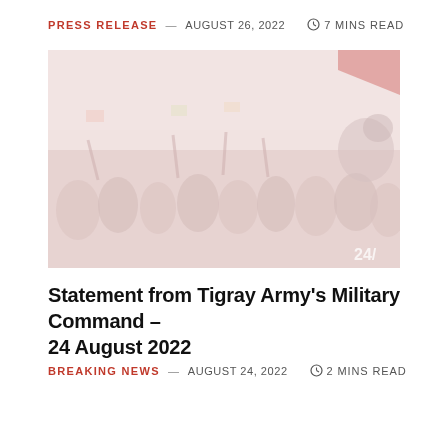PRESS RELEASE — AUGUST 26, 2022  ⏱ 7 MINS READ
[Figure (photo): A faded reddish-tinted photograph showing a crowd of soldiers or people, some holding flags or weapons aloft, with a '24/' watermark in the lower right corner.]
Statement from Tigray Army's Military Command – 24 August 2022
BREAKING NEWS — AUGUST 24, 2022  ⏱ 2 MINS READ